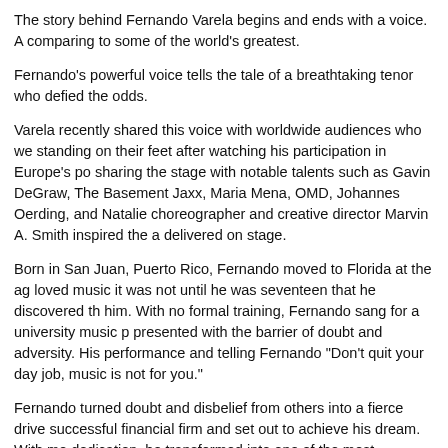The story behind Fernando Varela begins and ends with a voice. A comparing to some of the world's greatest.
Fernando's powerful voice tells the tale of a breathtaking tenor who defied the odds.
Varela recently shared this voice with worldwide audiences who we standing on their feet after watching his participation in Europe's po sharing the stage with notable talents such as Gavin DeGraw, The Basement Jaxx, Maria Mena, OMD, Johannes Oerding, and Natalie choreographer and creative director Marvin A. Smith inspired the a delivered on stage.
Born in San Juan, Puerto Rico, Fernando moved to Florida at the ag loved music it was not until he was seventeen that he discovered th him. With no formal training, Fernando sang for a university music p presented with the barrier of doubt and adversity. His performance and telling Fernando "Don't quit your day job, music is not for you."
Fernando turned doubt and disbelief from others into a fierce drive successful financial firm and set out to achieve his dream. With mo dedication, he transformed into one of the most captivating tenors i
Fernando trained with some of opera's renowned classical icons an Award Winning tenors David Foster [Colin Raye, White ...